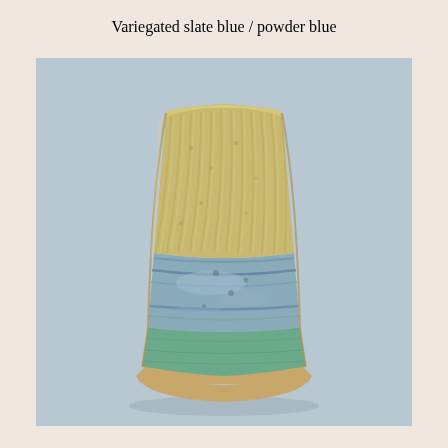Variegated slate blue / powder blue
[Figure (photo): Ceramic glazed tile or molding sample showing a ridged/fluted profile. The upper portion has a warm sandy/yellow glaze with vertical ridges, transitioning in the middle to variegated slate blue and powder blue tones, and at the bottom to teal/green with an unglazed natural clay foot base. The piece has a curved architectural molding shape — wide at top, narrowing then flaring at the bottom.]